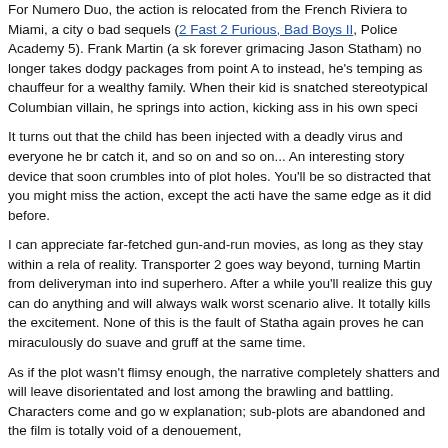For Numero Duo, the action is relocated from the French Riviera to Miami, a city of bad sequels (2 Fast 2 Furious, Bad Boys II, Police Academy 5). Frank Martin (a sk forever grimacing Jason Statham) no longer takes dodgy packages from point A to instead, he's temping as chauffeur for a wealthy family. When their kid is snatched stereotypical Columbian villain, he springs into action, kicking ass in his own speci
It turns out that the child has been injected with a deadly virus and everyone he br catch it, and so on and so on... An interesting story device that soon crumbles into of plot holes. You'll be so distracted that you might miss the action, except the acti have the same edge as it did before.
I can appreciate far-fetched gun-and-run movies, as long as they stay within a rela of reality. Transporter 2 goes way beyond, turning Martin from deliveryman into ind superhero. After a while you'll realize this guy can do anything and will always walk worst scenario alive. It totally kills the excitement. None of this is the fault of Statha again proves he can miraculously do suave and gruff at the same time.
As if the plot wasn't flimsy enough, the narrative completely shatters and will leave disorientated and lost among the brawling and battling. Characters come and go w explanation; sub-plots are abandoned and the film is totally void of a denouement,
All it does is showcase a bunch of totally far-fetched fight scenes, while failing at e that could have made the film a contender. Even the relentlessly silly Danny the De (Unleashed) did better than this.
Even though it was made by a European director and producer and funded with Eu money - something that gave the original such a unique ambience - this feels an a Hollywood trash flick. It's a shame the F M machine had to lose its wheels so soon end hints at a third, one can only hope that Louis Leterrier and Luc Besson get the together. What began as a series, made in the hedonistic style of Taxi (the Gallic p Ronin and Kiss Of The Dragon has ended in the bargain basement, where movies and S.W.A.T. are parked. And that ain't good.